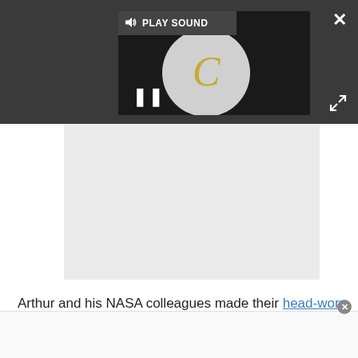[Figure (screenshot): Dark media player UI with 'PLAY SOUND' button bar, loading spinner circle with golden C, and pause button on dark background]
[Figure (screenshot): Light gray video/media content area below the player controls]
Arthur and his NASA colleagues made their head-worn display by combining a Rockwell Collins helmet
[Figure (screenshot): White bottom overlay area with close circle button]